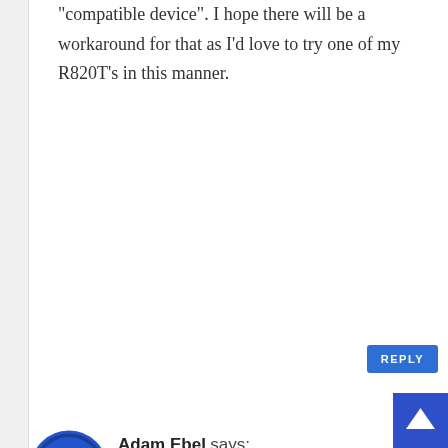“compatible device”. I hope there will be a workaround for that as I’d love to try one of my R820T’s in this manner.
REPLY
[Figure (photo): Circular avatar image of Adam Ebel with blue border]
Adam Ebel says:
February 18, 2013 at 11:37 am
There would be a work around if Amazon would have it on their app store. Google play is playing around and wasting time with this good app. This is the same